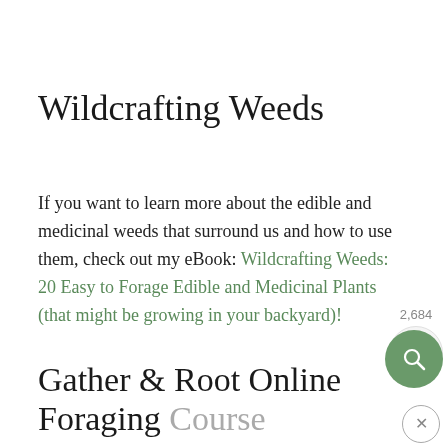Wildcrafting Weeds
If you want to learn more about the edible and medicinal weeds that surround us and how to use them, check out my eBook: Wildcrafting Weeds: 20 Easy to Forage Edible and Medicinal Plants (that might be growing in your backyard)!
Gather & Root Online Foraging Course